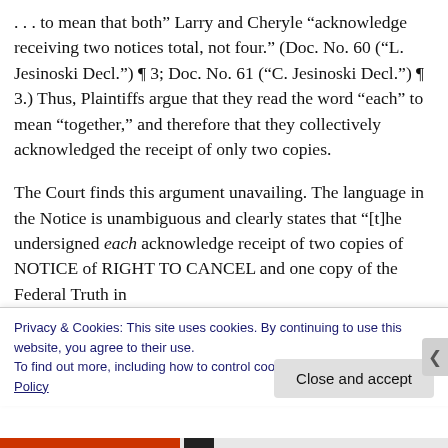. . . to mean that both” Larry and Cheryle “acknowledge receiving two notices total, not four.” (Doc. No. 60 (“L. Jesinoski Decl.”) ¶ 3; Doc. No. 61 (“C. Jesinoski Decl.”) ¶ 3.) Thus, Plaintiffs argue that they read the word “each” to mean “together,” and therefore that they collectively acknowledged the receipt of only two copies.
The Court finds this argument unavailing. The language in the Notice is unambiguous and clearly states that “[t]he undersigned each acknowledge receipt of two copies of NOTICE of RIGHT TO CANCEL and one copy of the Federal Truth in
Privacy & Cookies: This site uses cookies. By continuing to use this website, you agree to their use.
To find out more, including how to control cookies, see here: Cookie Policy